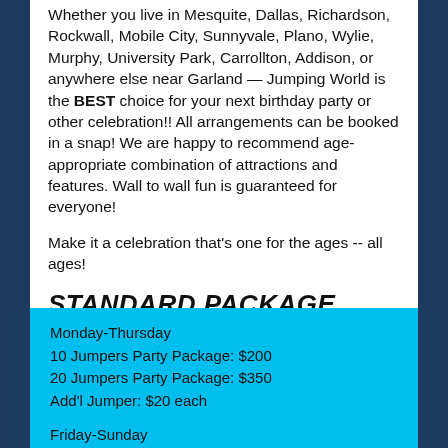Whether you live in Mesquite, Dallas, Richardson, Rockwall, Mobile City, Sunnyvale, Plano, Wylie, Murphy, University Park, Carrollton, Addison, or anywhere else near Garland — Jumping World is the BEST choice for your next birthday party or other celebration!! All arrangements can be booked in a snap! We are happy to recommend age-appropriate combination of attractions and features. Wall to wall fun is guaranteed for everyone!
Make it a celebration that's one for the ages -- all ages!
STANDARD PACKAGE
Monday-Thursday
10 Jumpers Party Package: $200
20 Jumpers Party Package: $350
Add'l Jumper: $20 each
Friday-Sunday
10 Jumpers Party Package: $250